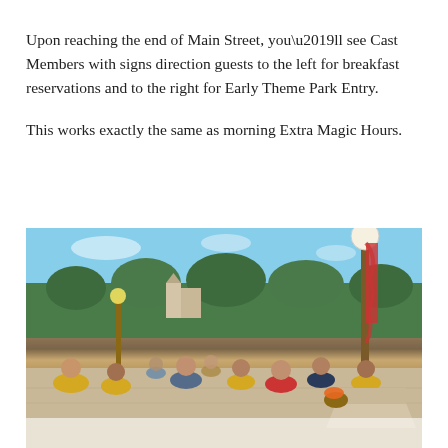Upon reaching the end of Main Street, you’ll see Cast Members with signs direction guests to the left for breakfast reservations and to the right for Early Theme Park Entry.
This works exactly the same as morning Extra Magic Hours.
[Figure (photo): Outdoor photo of a crowd of people walking along Main Street at a Disney theme park on a sunny day with blue sky, trees, lamp posts with red ribbons, and a large decorative street lamp in the foreground right.]